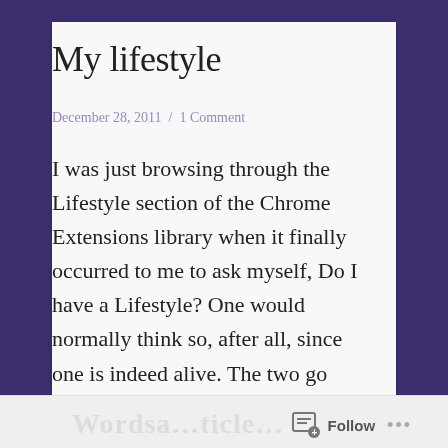My lifestyle
December 28, 2011  /  1 Comment
I was just browsing through the Lifestyle section of the Chrome Extensions library when it finally occurred to me to ask myself, Do I have a Lifestyle? One would normally think so, after all, since one is indeed alive. The two go together, don't you think? However, I began to take note of just what …
Follow